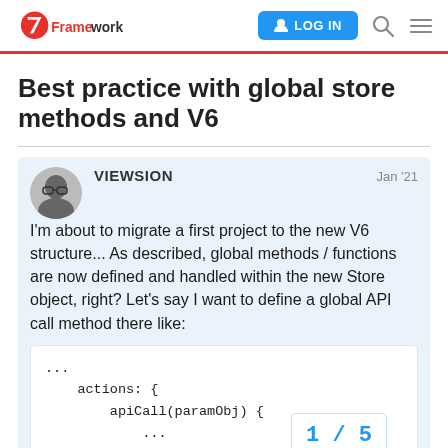Framework7 — LOG IN
Best practice with global store methods and V6
VIEWSION    Jan '21
I'm about to migrate a first project to the new V6 structure... As described, global methods / functions are now defined and handled within the new Store object, right? Let's say I want to define a global API call method there like:
...
    actions: {
        apiCall(paramObj) {
            ...
            [f7Object].request(
1 / 5